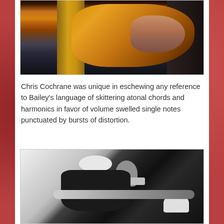[Figure (photo): Color photograph of hands playing an electric guitar, with a guitar amplifier visible in the background. The guitar has a yellow/amber finish.]
Chris Cochrane was unique in eschewing any reference to Bailey's language of skittering atonal chords and harmonics in favor of volume swelled single notes punctuated by bursts of distortion.
[Figure (photo): Black and white photograph of a bald man playing an electric guitar (Fender Stratocaster style), with another person and a laptop visible in the background.]